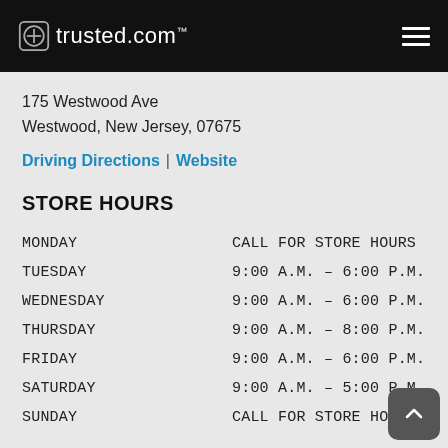trusted.com
175 Westwood Ave
Westwood, New Jersey, 07675
Driving Directions | Website
STORE HOURS
| Day | Hours |
| --- | --- |
| MONDAY | CALL FOR STORE HOURS |
| TUESDAY | 9:00 A.M. – 6:00 P.M. |
| WEDNESDAY | 9:00 A.M. – 6:00 P.M. |
| THURSDAY | 9:00 A.M. – 8:00 P.M. |
| FRIDAY | 9:00 A.M. – 6:00 P.M. |
| SATURDAY | 9:00 A.M. – 5:00 P.M. |
| SUNDAY | CALL FOR STORE HOURS |